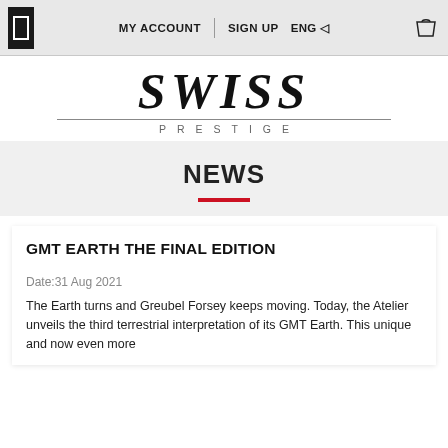MY ACCOUNT | SIGN UP ENG
[Figure (logo): Swiss Prestige logo with large serif italic 'SWISS' text, horizontal rule, and spaced 'PRESTIGE' text below]
NEWS
GMT EARTH THE FINAL EDITION
Date:31 Aug 2021
The Earth turns and Greubel Forsey keeps moving. Today, the Atelier unveils the third terrestrial interpretation of its GMT Earth. This unique and now even more